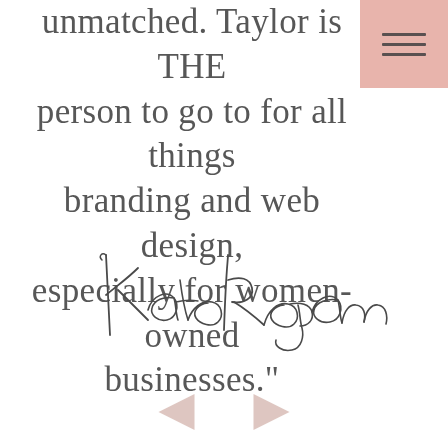unmatched. Taylor is THE person to go to for all things branding and web design, especially for women-owned businesses."
[Figure (illustration): Handwritten cursive signature reading 'Kate Regan']
[Figure (other): Navigation arrows: left-pointing and right-pointing triangles in muted rose/pink color at the bottom of the page]